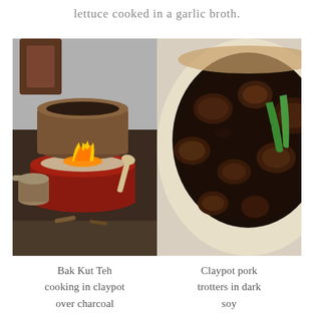lettuce cooked in a garlic broth.
[Figure (photo): Two side-by-side food photos: left shows a Bak Kut Teh claypot cooking over a charcoal stove with visible flame; right shows a claypot of braised pork trotters in dark soy sauce garnished with green onion.]
Bak Kut Teh cooking in claypot over charcoal
Claypot pork trotters in dark soy